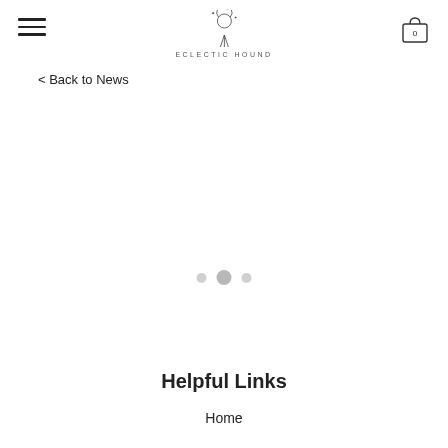Eclectic Hound — navigation header with hamburger menu, logo, and cart icon
< Back to News
[Figure (other): Carousel indicator dots: three dots with middle dot larger/darker indicating current slide]
Helpful Links
Home